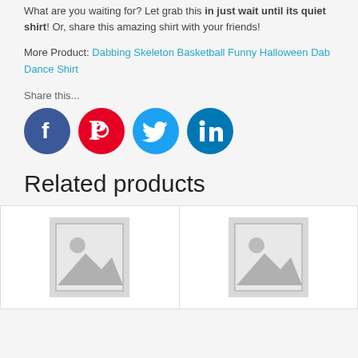What are you waiting for? Let grab this in just wait until its quiet shirt! Or, share this amazing shirt with your friends!
More Product: Dabbing Skeleton Basketball Funny Halloween Dab Dance Shirt
Share this...
[Figure (illustration): Four social media sharing icons: Facebook (blue circle), Pinterest (red circle), Twitter (light blue circle), LinkedIn (dark blue circle)]
Related products
[Figure (photo): Placeholder image for a related product (grey image placeholder with mountain/landscape icon)]
[Figure (photo): Placeholder image for a related product (grey image placeholder with mountain/landscape icon)]